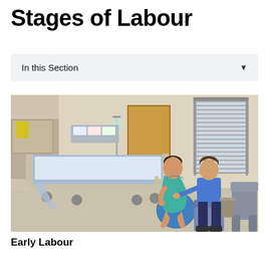Stages of Labour
In this Section
[Figure (photo): A pregnant woman in a teal hospital gown sits on a blue exercise/birthing ball in a hospital labour and delivery room, with a man in a blue shirt sitting beside her on a chair. A hospital bed with blue sheets is visible on the left, along with medical equipment and shelving. A window with blinds provides natural light. A grey recliner chair is on the right.]
Early Labour